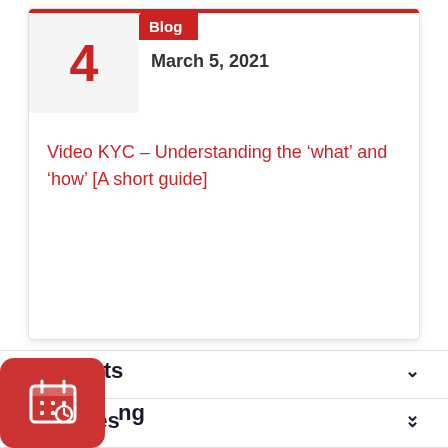4
Blog
March 5, 2021
Video KYC – Understanding the ‘what’ and ‘how’ [A short guide]
Products
Features
ng